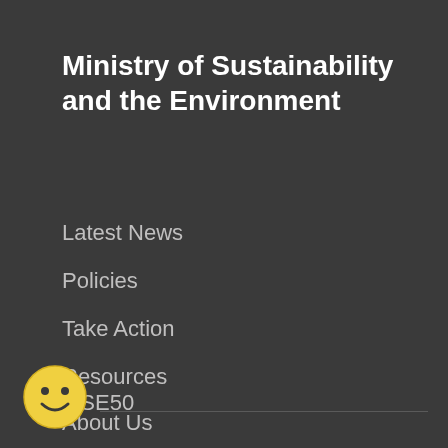Ministry of Sustainability and the Environment
Latest News
Policies
Take Action
Resources
About Us
MSE50
[Figure (illustration): Yellow smiley face emoji circle icon at bottom left]